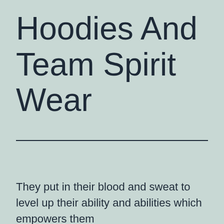Hoodies And Team Spirit Wear
They put in their blood and sweat to level up their ability and abilities which empowers them